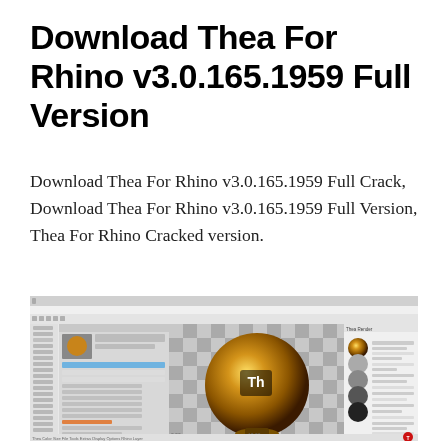Download Thea For Rhino v3.0.165.1959 Full Version
Download Thea For Rhino v3.0.165.1959 Full Crack, Download Thea For Rhino v3.0.165.1959 Full Version, Thea For Rhino Cracked version.
[Figure (screenshot): Screenshot of Thea Render plugin for Rhino 3D showing a golden metallic sphere on a checkered surface with the Thea logo, alongside UI panels with material and render settings.]